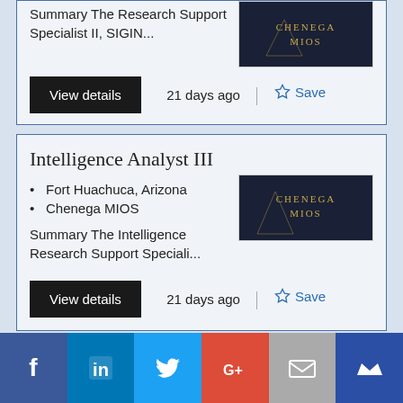Summary The Research Support Specialist II, SIGIN...
View details  21 days ago  Save
Intelligence Analyst III
Fort Huachuca, Arizona
Chenega MIOS
Summary The Intelligence Research Support Speciali...
View details  21 days ago  Save
[Figure (logo): Chenega MIOS company logo on dark navy background with gold emblem]
[Figure (logo): Chenega MIOS company logo on dark navy background with gold emblem]
[Figure (infographic): Social sharing bar with Facebook, LinkedIn, Twitter, Google+, Email, and Mightybell icons]